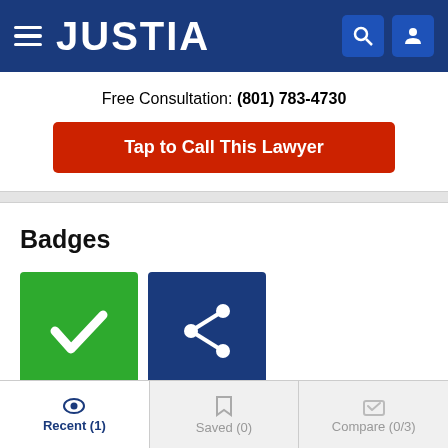JUSTIA
Free Consultation: (801) 783-4730
Tap to Call This Lawyer
Badges
[Figure (logo): Two badges: a green badge with a white checkmark, and a dark blue badge with a white share/network icon]
Biography
Recent (1)  Saved (0)  Compare (0/3)